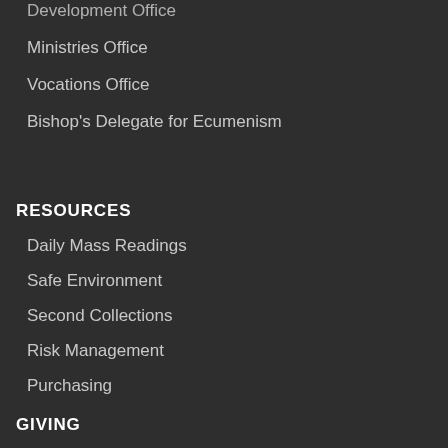Development Office
Ministries Office
Vocations Office
Bishop's Delegate for Ecumenism
RESOURCES
Daily Mass Readings
Safe Environment
Second Collections
Risk Management
Purchasing
GIVING